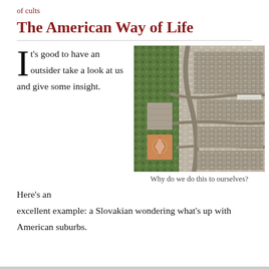of cults
The American Way of Life
It's good to have an outsider take a look at us and give some insight. Here’s an excellent example: a Slovakian wondering what’s up with American suburbs.
[Figure (photo): Aerial photograph of an American suburb showing dense rows of houses, curved streets, a baseball diamond, and parking lots surrounded by green trees.]
Why do we do this to ourselves?